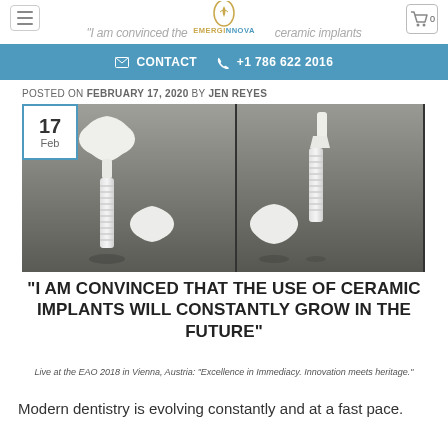EMERGINNOVA — menu and cart navigation
"I am convinced the use of ceramic implants"
✉ CONTACT  📞 +1 786 622 2016
POSTED ON FEBRUARY 17, 2020 BY JEN REYES
[Figure (photo): Three ceramic dental implants shown in different configurations against a dark gradient background, with a date badge showing 17 Feb]
"I AM CONVINCED THAT THE USE OF CERAMIC IMPLANTS WILL CONSTANTLY GROW IN THE FUTURE"
Live at the EAO 2018 in Vienna, Austria: "Excellence in Immediacy. Innovation meets heritage."
Modern dentistry is evolving constantly and at a fast pace.